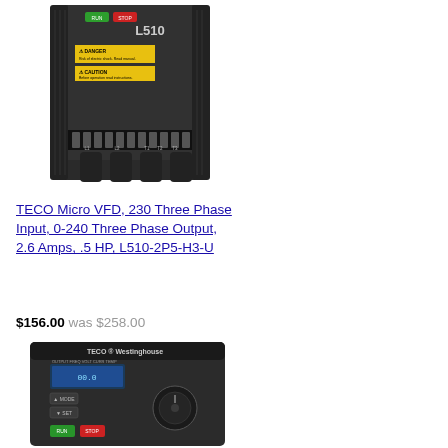[Figure (photo): TECO L510 Micro VFD variable frequency drive, black housing, front view showing green/red control buttons, L510 label, DANGER and CAUTION warning stickers, terminal connections at bottom labeled L1 L2 T1 T2 T3]
TECO Micro VFD, 230 Three Phase Input, 0-240 Three Phase Output, 2.6 Amps, .5 HP, L510-2P5-H3-U
$156.00 was $258.00
[Figure (photo): TECO Westinghouse variable frequency drive, black rectangular housing, front panel showing digital display, multiple control buttons, mode/run/stop keys, and green/red indicator buttons, brand label at top reading TECO Westinghouse]